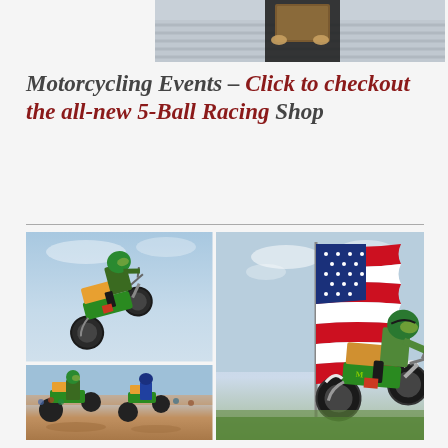[Figure (photo): Partial view of a person holding a wooden box/plaque, shot from mid-torso down against a corrugated metal background]
Motorcycling Events – Click to checkout the all-new 5-Ball Racing Shop
[Figure (photo): Collage of three motocross racing photos: top-left shows a rider on a green Kawasaki jumping in mid-air against a blue sky; bottom-left shows multiple riders racing on a dirt track with spectators; right large photo shows a rider jumping high in front of a large waving American flag]